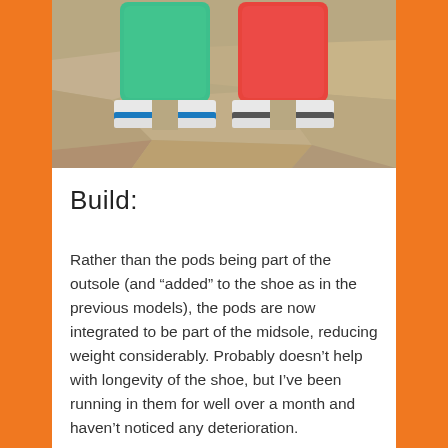[Figure (photo): Photo showing the soles/heels of two running shoes side by side — one green/teal and one red/orange — placed on a stone surface, viewed from behind.]
Build:
Rather than the pods being part of the outsole (and “added” to the shoe as in the previous models), the pods are now integrated to be part of the midsole, reducing weight considerably. Probably doesn’t help with longevity of the shoe, but I’ve been running in them for well over a month and haven’t noticed any deterioration.